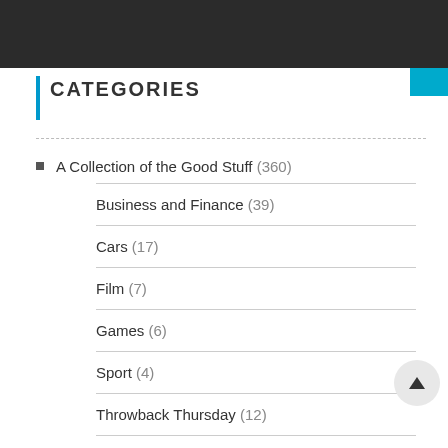CATEGORIES
A Collection of the Good Stuff (360)
Business and Finance (39)
Cars (17)
Film (7)
Games (6)
Sport (4)
Throwback Thursday (12)
Travel (10)
BearingNet News (67)
Best Bits (16)